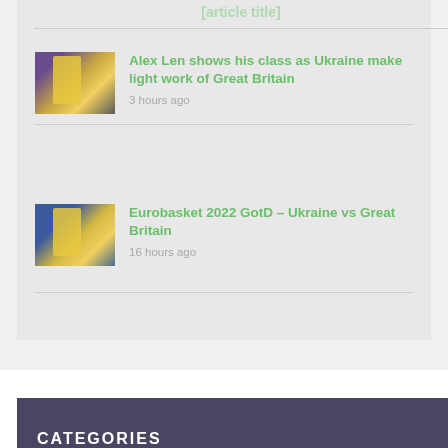[truncated article title]
[Figure (photo): Basketball player in yellow/gold Ukraine uniform jumping to make a shot, with purple/dark background]
Alex Len shows his class as Ukraine make light work of Great Britain
3 hours ago
[Figure (photo): Basketball players in yellow/gold uniforms during a game, crowd visible in background]
Eurobasket 2022 GotD – Ukraine vs Great Britain
16 hours ago
CATEGORIES